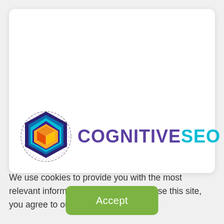[Figure (logo): CognitiveSEO logo: a colorful hexagonal icon with concentric rings and a 3D cube, next to the text 'COGNITIVE' in purple and 'SEO' in cyan]
We use cookies to provide you with the most relevant information.By continuing to use this site, you agree to our use of cookies.
Accept